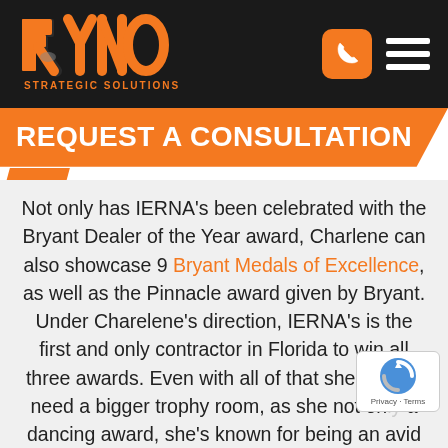[Figure (logo): RYNO Strategic Solutions logo — stylized orange and dark text with animal silhouette, on dark background]
REQUEST A CONSULTATION
Not only has IERNA's been celebrated with the Bryant Dealer of the Year award, Charlene can also showcase 9 Bryant Medals of Excellence, as well as the Pinnacle award given by Bryant. Under Charelene's direction, IERNA's is the first and only contractor in Florida to win all three awards. Even with all of that she's going to need a bigger trophy room, as she not only a dancing award, she's known for being an avid